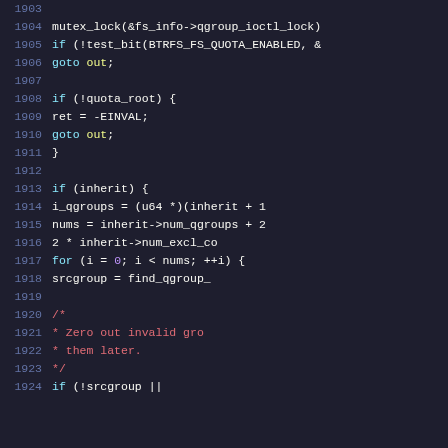[Figure (screenshot): Source code editor screenshot showing C kernel code lines 1903-1924 with syntax highlighting on dark background]